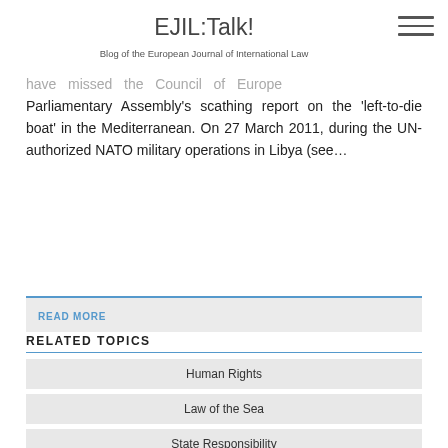EJIL:Talk! Blog of the European Journal of International Law
have missed the Council of Europe Parliamentary Assembly's scathing report on the 'left-to-die boat' in the Mediterranean. On 27 March 2011, during the UN-authorized NATO military operations in Libya (see…
READ MORE
RELATED TOPICS
Human Rights
Law of the Sea
State Responsibility